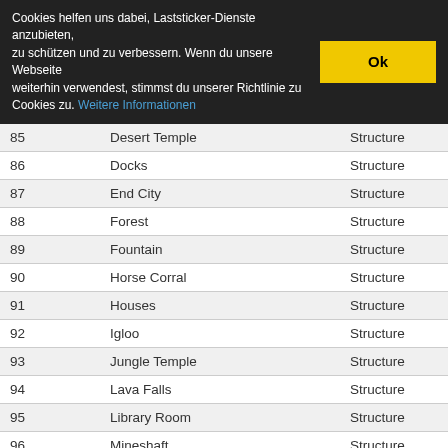Cookies helfen uns dabei, Laststicker-Dienste anzubieten, zu schützen und zu verbessern. Wenn du unsere Webseite weiterhin verwendest, stimmst du unserer Richtlinie zu Cookies zu. Weitere Informationen  Ok
| 85 | Desert Temple | Structure |
| 86 | Docks | Structure |
| 87 | End City | Structure |
| 88 | Forest | Structure |
| 89 | Fountain | Structure |
| 90 | Horse Corral | Structure |
| 91 | Houses | Structure |
| 92 | Igloo | Structure |
| 93 | Jungle Temple | Structure |
| 94 | Lava Falls | Structure |
| 95 | Library Room | Structure |
| 96 | Mineshaft | Structure |
| 97 | Mountain Source | Structure |
| 98 | Mushroom Trees | Structure |